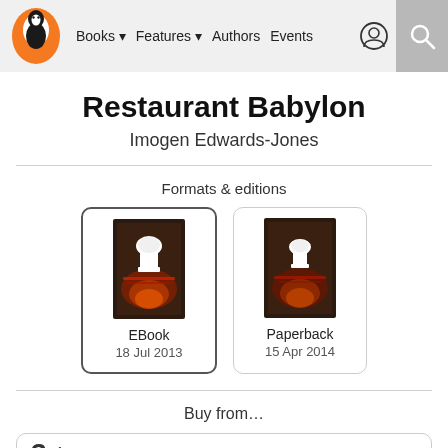Books | Features | Authors | Events
Restaurant Babylon
Imogen Edwards-Jones
Formats & editions
[Figure (other): EBook edition card with book cover showing chef hat, dated 18 Jul 2013]
[Figure (other): Paperback edition card with book cover showing chef hat, dated 15 Apr 2014]
Buy from…
3 A...